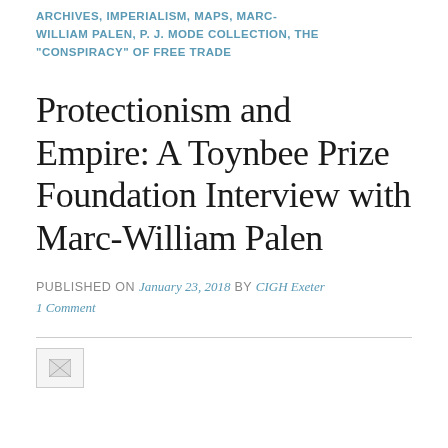ARCHIVES, IMPERIALISM, MAPS, MARC-WILLIAM PALEN, P. J. MODE COLLECTION, THE "CONSPIRACY" OF FREE TRADE
Protectionism and Empire: A Toynbee Prize Foundation Interview with Marc-William Palen
PUBLISHED ON January 23, 2018 by CIGH Exeter
1 Comment
[Figure (other): Small broken image icon placeholder at bottom of page]